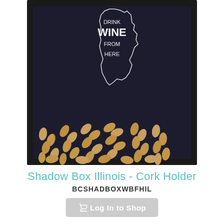[Figure (photo): Shadow box with Illinois state outline and text 'Drink Wine From Here', filled with wine corks at the bottom, black frame]
Shadow Box Illinois - Cork Holder
BCSHADBOXWBFHIL
[Figure (other): Log In to Shop button with shopping cart icon]
[Figure (photo): Shadow box with outlined wine glasses drawing on dark blue background, filled with wine corks at the bottom, black frame]